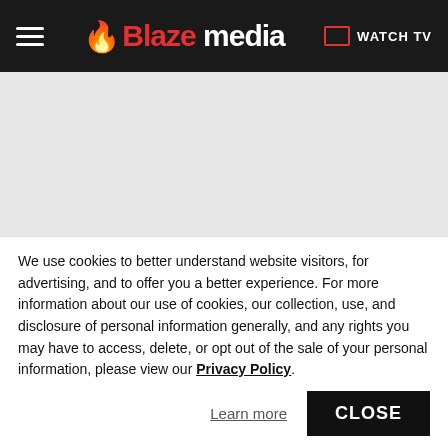Blaze Media | WATCH TV
[Figure (other): Gray advertisement placeholder area]
Blaze Media / News
Bernie Sanders unveils massive 'wealth tax,' admits that I don't think that
We use cookies to better understand website visitors, for advertising, and to offer you a better experience. For more information about our use of cookies, our collection, use, and disclosure of personal information generally, and any rights you may have to access, delete, or opt out of the sale of your personal information, please view our Privacy Policy.
Learn more
CLOSE